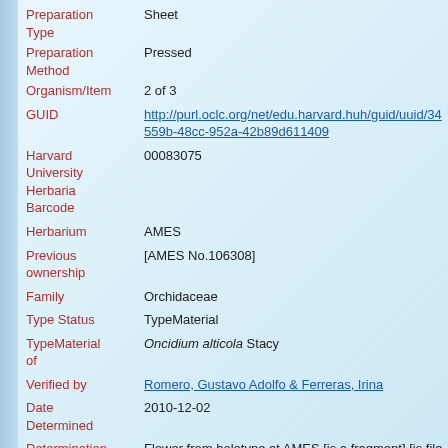Preparation Type: Sheet
Preparation Method: Pressed
Organism/Item: 2 of 3
GUID: http://purl.oclc.org/net/edu.harvard.huh/guid/uuid/34559b-48cc-952a-42b89d611409
Harvard University Herbaria Barcode: 00083075
Herbarium: AMES
Previous ownership: [AMES No.106308]
Family: Orchidaceae
Type Status: TypeMaterial
TypeMaterial of: Oncidium alticola Stacy
Verified by: Romero, Gustavo Adolfo & Ferreras, Irina
Date Determined: 2010-12-02
Determination Remarks: Flower from holotype at AMES [is a fragment] [is file name] [is label name] [is Current name]